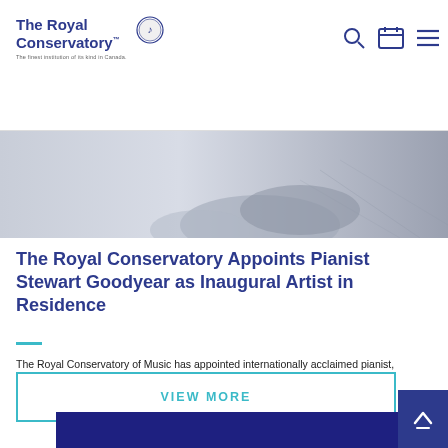The Royal Conservatory
[Figure (photo): Close-up of a pianist's hands on piano keys, blurred/cropped background]
The Royal Conservatory Appoints Pianist Stewart Goodyear as Inaugural Artist in Residence
The Royal Conservatory of Music has appointed internationally acclaimed pianist, composer, and RCM alumnus, Stewart Goodyear as the inaugural Artist in Residence.
[Figure (infographic): Dark blue promotional banner: Introducing the Oscar Peterson Program with right arrow]
VIEW MORE
[Figure (other): Scroll-to-top button with up arrow chevron]